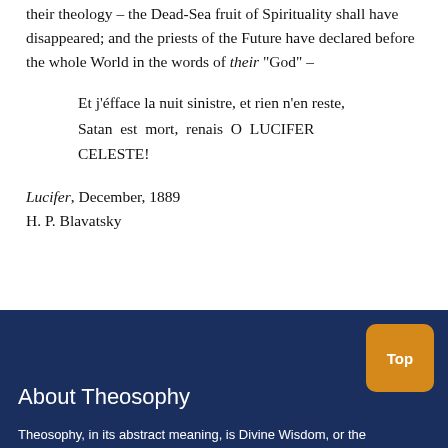their theology – the Dead-Sea fruit of Spirituality shall have disappeared; and the priests of the Future have declared before the whole World in the words of their "God" –
Et j'éfface la nuit sinistre, et rien n'en reste, Satan est mort, renais O LUCIFER CELESTE!
Lucifer, December, 1889
H. P. Blavatsky
About Theosophy
Theosophy, in its abstract meaning, is Divine Wisdom, or the